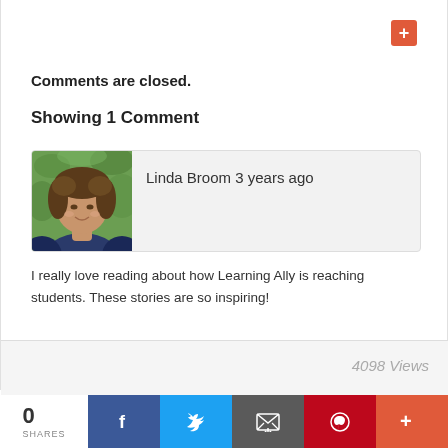[Figure (other): Red plus button icon in top right area]
Comments are closed.
Showing 1 Comment
[Figure (photo): Profile photo of Linda Broom — a woman with curly brown hair outdoors with green background]
Linda Broom 3 years ago
I really love reading about how Learning Ally is reaching students. These stories are so inspiring!
4098 Views
0 SHARES